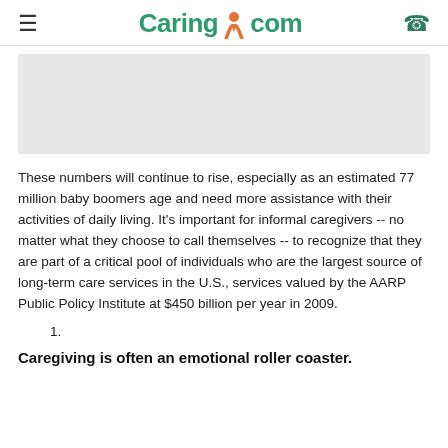Caring.com
[Figure (other): Advertisement placeholder rectangle with light gray background]
These numbers will continue to rise, especially as an estimated 77 million baby boomers age and need more assistance with their activities of daily living. It's important for informal caregivers -- no matter what they choose to call themselves -- to recognize that they are part of a critical pool of individuals who are the largest source of long-term care services in the U.S., services valued by the AARP Public Policy Institute at $450 billion per year in 2009.
1.
Caregiving is often an emotional roller coaster.